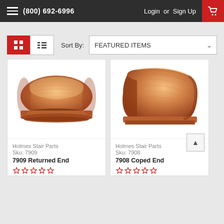(800) 692-6996  Login or Sign Up
Sort By: FEATURED ITEMS
[Figure (photo): Product photo of 7909 Returned End wooden stair part - a rounded loaf-shaped wood handrail end cap with visible wood grain]
Holmes Stair Parts
Sku: 7909
7909 Returned End
[Figure (photo): Product photo of 7908 Coped End wooden stair part - a large curved wood handrail end cap open on one side with visible wood grain]
Holmes Stair Parts
Sku: 7908
7908 Coped End